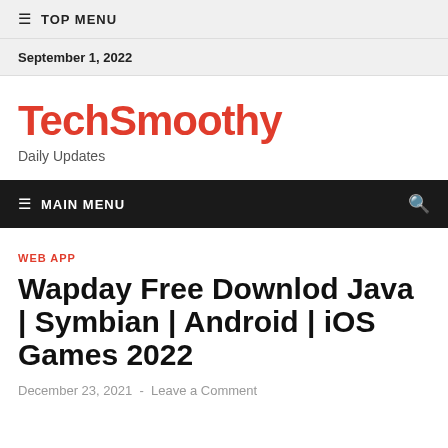≡ TOP MENU
September 1, 2022
TechSmoothy
Daily Updates
≡ MAIN MENU
WEB APP
Wapday Free Downlod Java | Symbian | Android | iOS Games 2022
December 23, 2021  -  Leave a Comment